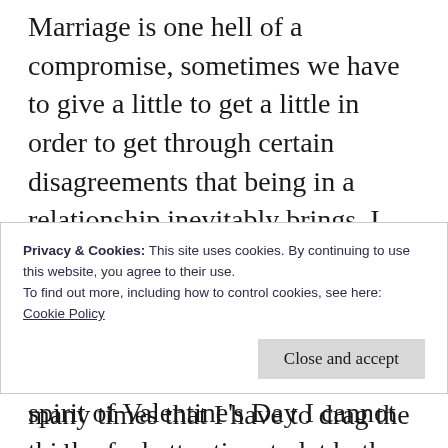Marriage is one hell of a compromise, sometimes we have to give a little to get a little in order to get through certain disagreements that being in a relationship inevitably brings. I sometimes forget that I have a good man, a great man even; and admittedly I sometimes tend to take him for granted, but in the spirit of Valentine's Day I cannot think of a better time to let both him and the World know how much I love, respect, adore and appreciate him.
Privacy & Cookies: This site uses cookies. By continuing to use this website, you agree to their use.
To find out more, including how to control cookies, see here: Cookie Policy
many times that I have to drag the garbage